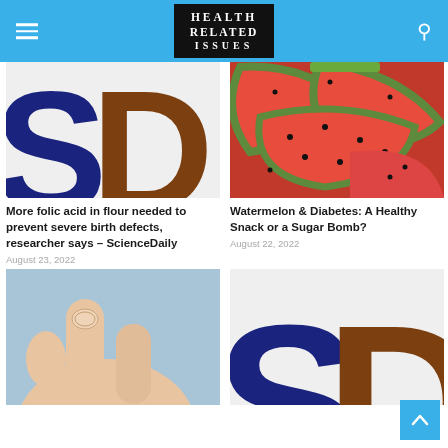HEALTH RELATED ISSUES
[Figure (photo): ScienceDaily logo letters SD on white/grey background]
More folic acid in flour needed to prevent severe birth defects, researcher says – ScienceDaily
August 23, 2022
[Figure (photo): Sliced watermelon pieces showing red flesh and seeds on white background]
Watermelon & Diabetes: A Healthy Snack or a Sugar Bomb?
August 22, 2022
[Figure (photo): Close up of fingers touching a small pill or object against light blue background]
[Figure (photo): ScienceDaily logo letters SD partial view]